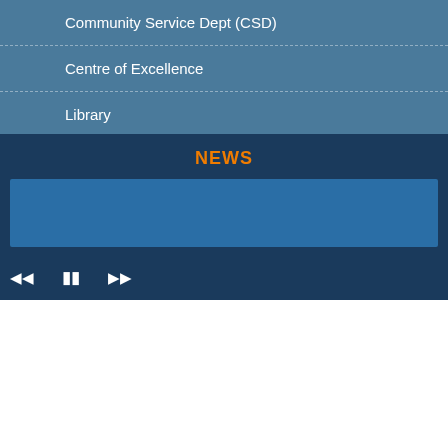Community Service Dept (CSD)
Centre of Excellence
Library
UN Global Compact
O6U Solidarity Program (SSP)
O6U Solidarity Program (SSP):
NEWS
[Figure (other): Blue content banner/slider area]
Media controls: rewind, pause, forward